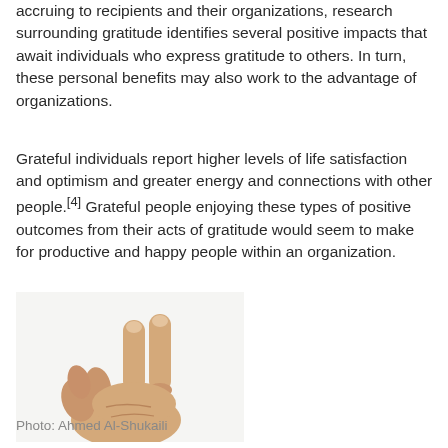accruing to recipients and their organizations, research surrounding gratitude identifies several positive impacts that await individuals who express gratitude to others. In turn, these personal benefits may also work to the advantage of organizations.
Grateful individuals report higher levels of life satisfaction and optimism and greater energy and connections with other people.[4] Grateful people enjoying these types of positive outcomes from their acts of gratitude would seem to make for productive and happy people within an organization.
[Figure (photo): A close-up photo of a hand making a peace sign (two fingers raised) against a white background.]
Photo: Ahmed Al-Shukaili